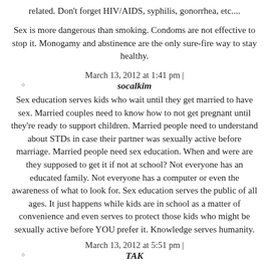related. Don't forget HIV/AIDS, syphilis, gonorrhea, etc....
Sex is more dangerous than smoking. Condoms are not effective to stop it. Monogamy and abstinence are the only sure-fire way to stay healthy.
March 13, 2012 at 1:41 pm |
socalkim
Sex education serves kids who wait until they get married to have sex. Married couples need to know how to not get pregnant until they're ready to support children. Married people need to understand about STDs in case their partner was sexually active before marriage. Married people need sex education. When and were are they supposed to get it if not at school? Not everyone has an educated family. Not everyone has a computer or even the awareness of what to look for. Sex education serves the public of all ages. It just happens while kids are in school as a matter of convenience and even serves to protect those kids who might be sexually active before YOU prefer it. Knowledge serves humanity.
March 13, 2012 at 5:51 pm |
TAK